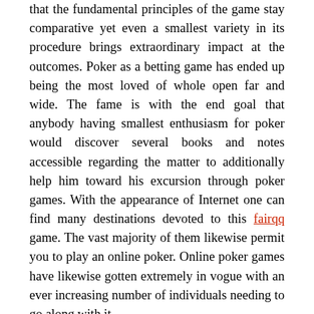that the fundamental principles of the game stay comparative yet even a smallest variety in its procedure brings extraordinary impact at the outcomes. Poker as a betting game has ended up being the most loved of whole open far and wide. The fame is with the end goal that anybody having smallest enthusiasm for poker would discover several books and notes accessible regarding the matter to additionally help him toward his excursion through poker games. With the appearance of Internet one can find many destinations devoted to this fairqq game. The vast majority of them likewise permit you to play an online poker. Online poker games have likewise gotten extremely in vogue with an ever increasing number of individuals needing to go along with it.
Among the soonest names of poker was Bluff as it was likewise workable for a man with the most fragile arrangement of cards to win the sum in pot in the event